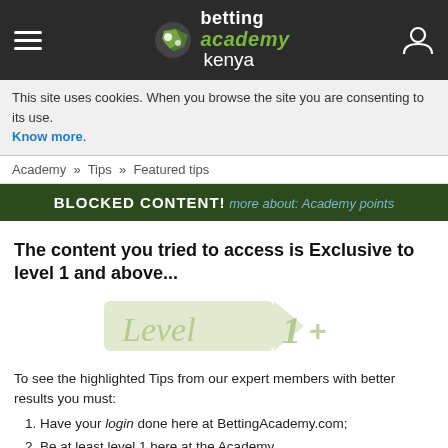[Figure (logo): Betting Academy Kenya logo with hamburger menu and user icon on dark header]
This site uses cookies. When you browse the site you are consenting to its use. Know more.
Academy » Tips » Featured tips
BLOCKED CONTENT! ...more about: Academy points
The content you tried to access is Exclusive to level 1 and above...
[Figure (illustration): Level 1+ badge watermark in light green]
To see the highlighted Tips from our expert members with better results you must:
Have your login done here at BettingAcademy.com;
Be at least level 1 here at the Academy.